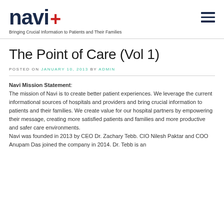navi+ Bringing Crucial Information to Patients and Their Families
The Point of Care (Vol 1)
POSTED ON JANUARY 10, 2013 BY ADMIN
Navi Mission Statement: The mission of Navi is to create better patient experiences. We leverage the current informational sources of hospitals and providers and bring crucial information to patients and their families. We create value for our hospital partners by empowering their message, creating more satisfied patients and families and more productive and safer care environments. Navi was founded in 2013 by CEO Dr. Zachary Tebb. CIO Nilesh Paktar and COO Anupam Das joined the company in 2014. Dr. Tebb is an